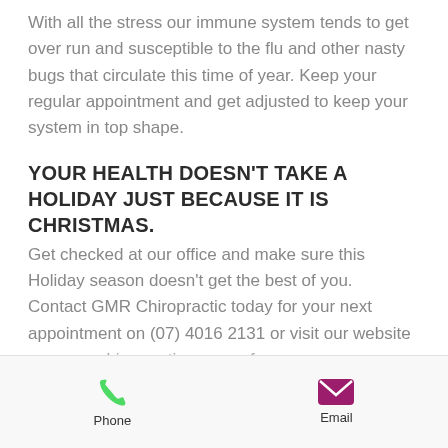With all the stress our immune system tends to get over run and susceptible to the flu and other nasty bugs that circulate this time of year. Keep your regular appointment and get adjusted to keep your system in top shape.
YOUR HEALTH DOESN'T TAKE A HOLIDAY JUST BECAUSE IT IS CHRISTMAS.
Get checked at our office and make sure this Holiday season doesn't get the best of you.
Contact GMR Chiropractic today for your next appointment on (07) 4016 2131 or visit our website www.gmrchiropractic.com.au for more
Phone | Email